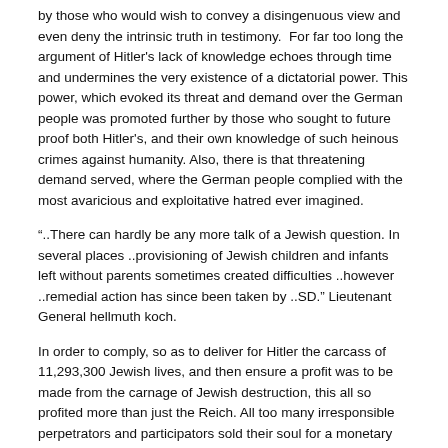by those who would wish to convey a disingenuous view and even deny the intrinsic truth in testimony.  For far too long the argument of Hitler's lack of knowledge echoes through time and undermines the very existence of a dictatorial power. This power, which evoked its threat and demand over the German people was promoted further by those who sought to future proof both Hitler's, and their own knowledge of such heinous crimes against humanity. Also, there is that threatening demand served, where the German people complied with the most avaricious and exploitative hatred ever imagined.
“..There can hardly be any more talk of a Jewish question. In several places ..provisioning of Jewish children and infants left without parents sometimes created difficulties ..however ..remedial action has since been taken by ..SD.” Lieutenant General hellmuth koch.
In order to comply, so as to deliver for Hitler the carcass of 11,293,300 Jewish lives, and then ensure a profit was to be made from the carnage of Jewish destruction, this all so profited more than just the Reich. All too many irresponsible perpetrators and participators sold their soul for a monetary gain and with a monstrous atrocity so bewildering, we do not yet come to terms with such a violent horror. Within that very context of parallel destruction, leading to a Reich’s and many individual’s wealth gain, this bled from the remains of 6,000,000 Jews of Europe. The reservoir of blood them seeped into the soil of Poland largely, but all other Countries too. The fact that the Jews were sold out by society’s everywhere, and by humanity in particular, has not profited the truth however, from being